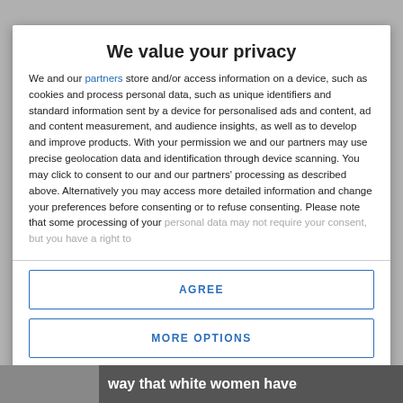We value your privacy
We and our partners store and/or access information on a device, such as cookies and process personal data, such as unique identifiers and standard information sent by a device for personalised ads and content, ad and content measurement, and audience insights, as well as to develop and improve products. With your permission we and our partners may use precise geolocation data and identification through device scanning. You may click to consent to our and our partners' processing as described above. Alternatively you may access more detailed information and change your preferences before consenting or to refuse consenting. Please note that some processing of your personal data may not require your consent, but you have a right to
AGREE
MORE OPTIONS
way that white women have